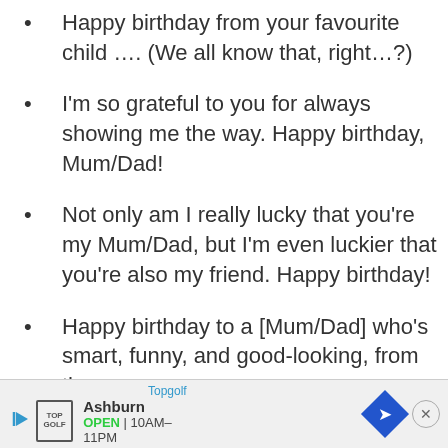Happy birthday from your favourite child …. (We all know that, right…?)
I'm so grateful to you for always showing me the way. Happy birthday, Mum/Dad!
Not only am I really lucky that you're my Mum/Dad, but I'm even luckier that you're also my friend. Happy birthday!
Happy birthday to a [Mum/Dad] who's smart, funny, and good-looking, from the
[Figure (screenshot): Advertisement banner for Topgolf Ashburn showing logo, open hours 10AM-11PM, navigation arrow icon, and close button]